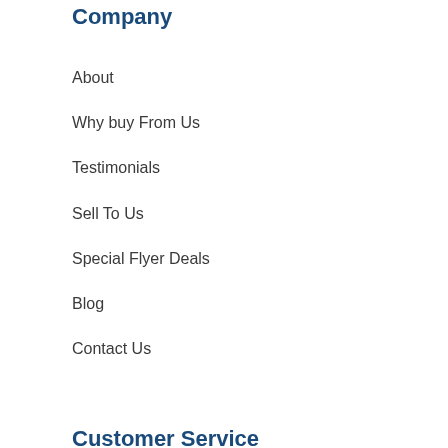Company
About
Why buy From Us
Testimonials
Sell To Us
Special Flyer Deals
Blog
Contact Us
Customer Service
Shipping
My Account
Sign in or Create an account
Order Status
My Shopping Cart